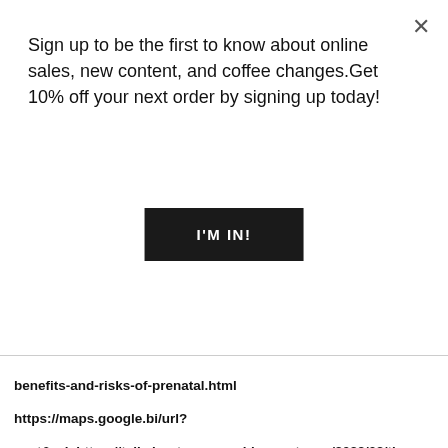Sign up to be the first to know about online sales, new content, and coffee changes.Get 10% off your next order by signing up today!
I'M IN!
benefits-and-risks-of-prenatal.html
https://maps.google.bi/url?sa=t&url=https://talkaboutmassage.blogspot.com/2022/08/the-benefits-and-risks-of-prenatal.html
https://maps.google.bg/url?sa=t&url=https://talkaboutmassage.blogspot.com/2022/08/the-benefits-and-risks-of-prenatal.html
https://maps.google.bf/url?sa=t&url=https://talkaboutmassage.blogspot.com/2022/08/the-benefits-and-risks-of-prenatal.html
https://maps.google.be/url?sa=t&url=https://talkaboutmassage.blogspot.com/2022/08/the-benefits-and-risks-of-prenatal.html